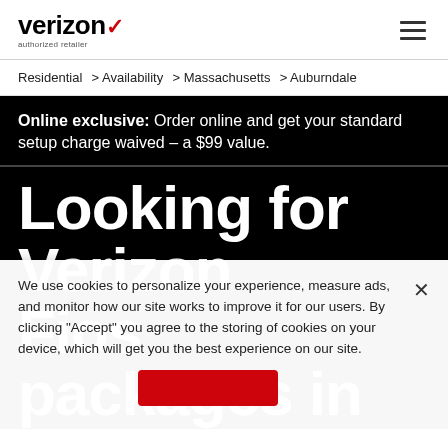verizon authorized retailer
Residential > Availability > Massachusetts > Auburndale
Online exclusive: Order online and get your standard setup charge waived – a $99 value.
Looking for Verizon Fios packages in
We use cookies to personalize your experience, measure ads, and monitor how our site works to improve it for our users. By clicking "Accept" you agree to the storing of cookies on your device, which will get you the best experience on our site.